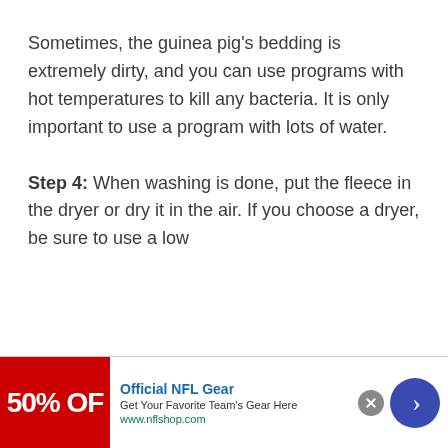Sometimes, the guinea pig's bedding is extremely dirty, and you can use programs with hot temperatures to kill any bacteria. It is only important to use a program with lots of water.
Step 4: When washing is done, put the fleece in the dryer or dry it in the air. If you choose a dryer, be sure to use a low
[Figure (other): Advertisement banner for Official NFL Gear with red image showing '50% OFF', title 'Official NFL Gear', subtitle 'Get Your Favorite Team's Gear Here', URL 'www.nflshop.com', close button, and blue arrow circle]